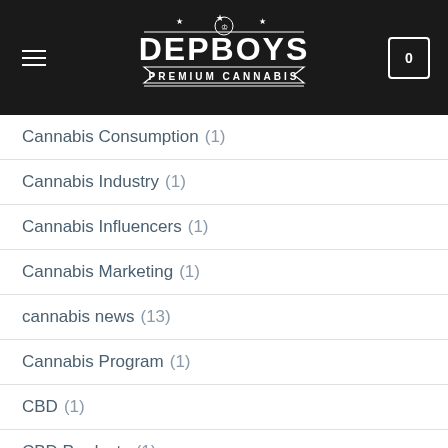DEPBOYS PREMIUM CANNABIS
Cannabis Consumption (1)
Cannabis Industry (1)
Cannabis Influencers (1)
Cannabis Marketing (1)
cannabis news (13)
Cannabis Program (1)
CBD (1)
CBD Products (1)
CBS 2 News LA (1)
CBS News (1)